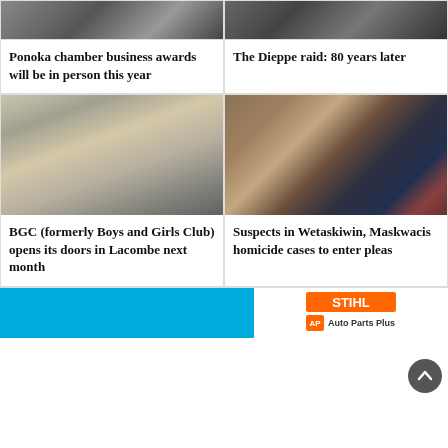[Figure (photo): People at an event, top-left card image]
Ponoka chamber business awards will be in person this year
[Figure (photo): Black and white historical war photo, top-right card image]
The Dieppe raid: 80 years later
[Figure (photo): Woman with glasses smiling, seated at desk]
BGC (formerly Boys and Girls Club) opens its doors in Lacombe next month
[Figure (photo): Lady Justice statue in front of law books]
Suspects in Wetaskiwin, Maskwacis homicide cases to enter pleas
[Figure (logo): STIHL Auto Parts Plus advertisement banner]